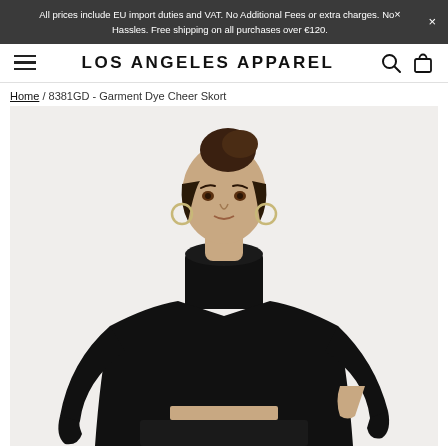All prices include EU import duties and VAT. No Additional Fees or extra charges. No Hassles. Free shipping on all purchases over €120.
LOS ANGELES APPAREL
Home / 8381GD - Garment Dye Cheer Skort
[Figure (photo): Female model wearing a black turtleneck long-sleeve crop top, photographed from waist up against a white/light background. She has hoop earrings and her hair is pulled back.]